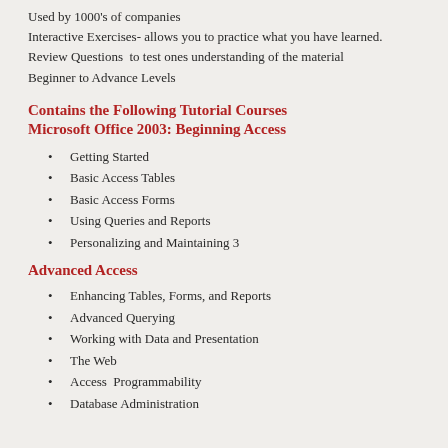Used by 1000's of companies
Interactive Exercises- allows you to practice what you have learned.
Review Questions  to test ones understanding of the material
Beginner to Advance Levels
Contains the Following Tutorial Courses
Microsoft Office 2003: Beginning Access
Getting Started
Basic Access Tables
Basic Access Forms
Using Queries and Reports
Personalizing and Maintaining 3
Advanced Access
Enhancing Tables, Forms, and Reports
Advanced Querying
Working with Data and Presentation
The Web
Access  Programmability
Database Administration